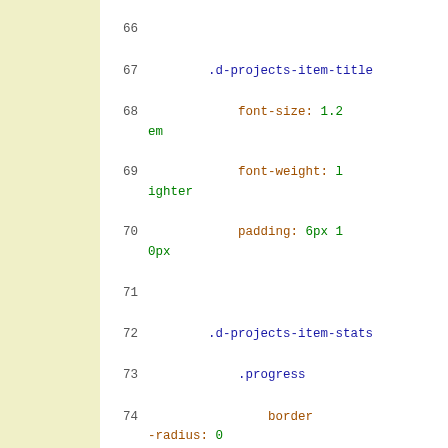[Figure (screenshot): Code editor screenshot showing CSS code lines 66-81 with line numbers, yellow sidebar, and syntax-highlighted code including selectors (.d-projects-item-title, .d-projects-item-stats .progress, .d-projects-item-header) and CSS properties (font-size, font-weight, padding, border-radius, border-bottom-left-radius, border-bottom-right-radius, margin, height, background-color)]